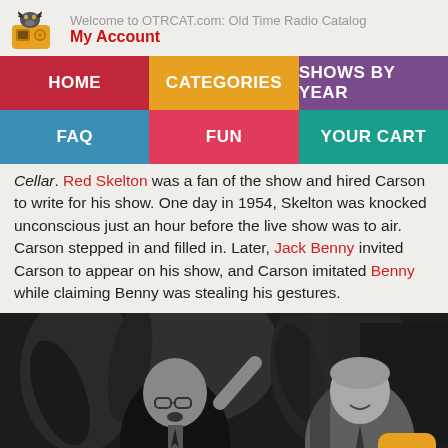Welcome to OTRCAT.com: Old Time Radio Catalog | My Account
HOME | CATEGORIES | SHOWS BY YEAR | FAQ | FUN | YOUR CART
Cellar. Red Skelton was a fan of the show and hired Carson to write for his show. One day in 1954, Skelton was knocked unconscious just an hour before the live show was to air. Carson stepped in and filled in. Later, Jack Benny invited Carson to appear on his show, and Carson imitated Benny while claiming Benny was stealing his gestures.
[Figure (photo): Black and white photo of two men on what appears to be a late night talk show set, with plants in the background. One man wears glasses and a dark suit, the other wears a light jacket.]